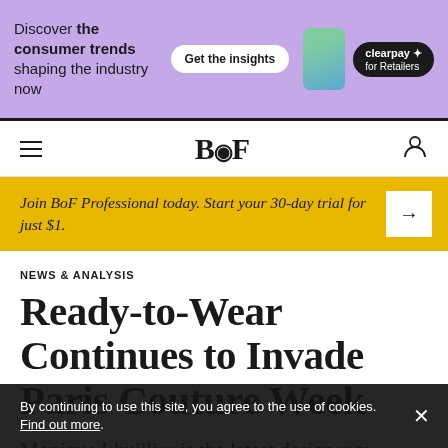[Figure (illustration): Purple advertisement banner for Clearpay for Retailers with text 'Discover the consumer trends shaping the industry now', a 'Get the insights' button, a phone image, and Clearpay logo]
BoF navigation bar with hamburger menu, BoF logo, and user icon
Join BoF Professional today. Start your 30-day trial for just $1.
NEWS & ANALYSIS
Ready-to-Wear Continues to Invade Paris Couture Week
Monique Lhuillier is the latest designer to
By continuing to use this site, you agree to the use of cookies. Find out more.